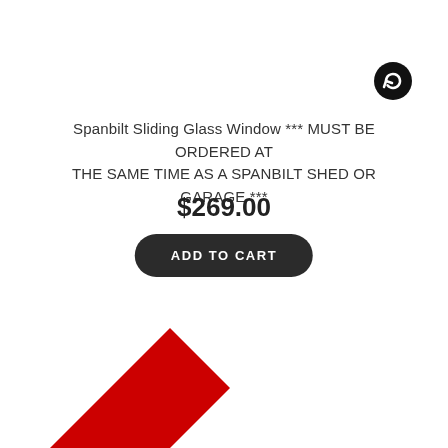[Figure (illustration): Black circular refresh/sync icon in top right area]
Spanbilt Sliding Glass Window *** MUST BE ORDERED AT THE SAME TIME AS A SPANBILT SHED OR GARAGE ***
$269.00
ADD TO CART
[Figure (illustration): Red diagonal ribbon banner in bottom left corner with white text reading 'Made to Order']